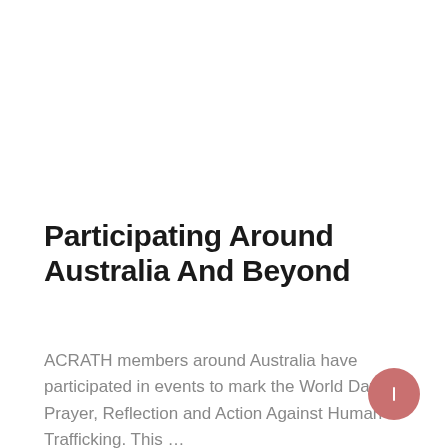Participating Around Australia And Beyond
ACRATH members around Australia have participated in events to mark the World Day of Prayer, Reflection and Action Against Human Trafficking. This ...